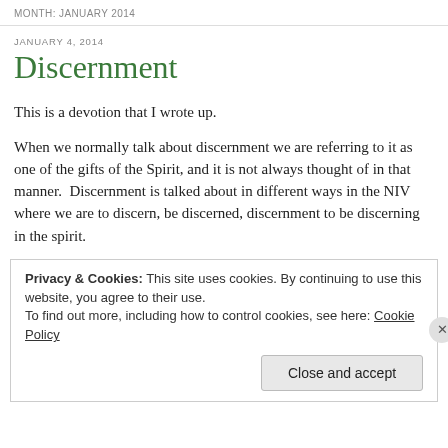MONTH: JANUARY 2014
JANUARY 4, 2014
Discernment
This is a devotion that I wrote up.
When we normally talk about discernment we are referring to it as one of the gifts of the Spirit, and it is not always thought of in that manner.  Discernment is talked about in different ways in the NIV where we are to discern, be discerned, discernment to be discerning in the spirit.
Privacy & Cookies: This site uses cookies. By continuing to use this website, you agree to their use.
To find out more, including how to control cookies, see here: Cookie Policy
Close and accept